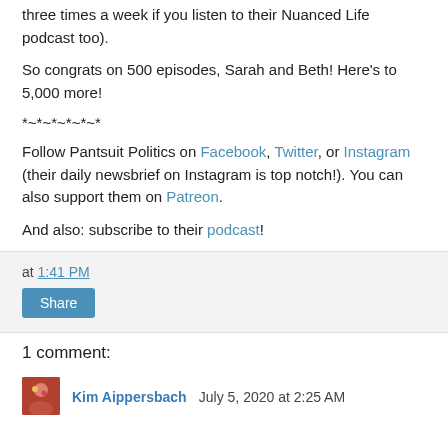three times a week if you listen to their Nuanced Life podcast too).
So congrats on 500 episodes, Sarah and Beth! Here's to 5,000 more!
*~*~*~*~*~*
Follow Pantsuit Politics on Facebook, Twitter, or Instagram (their daily newsbrief on Instagram is top notch!). You can also support them on Patreon.
And also: subscribe to their podcast!
at 1:41 PM
Share
1 comment:
Kim Aippersbach July 5, 2020 at 2:25 AM